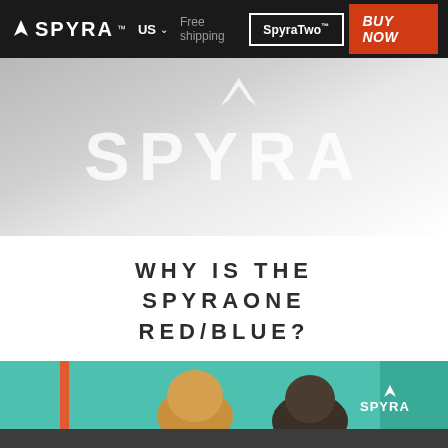SPYRA™ | US | Free shipping | SpyraTwo™ | BUY NOW
[Figure (logo): SPYRA large white logo on gradient grey background]
WHY IS THE SPYRAONE RED/BLUE?
[Figure (photo): Two people in front of a teal/green background, partial view; SPYRA logo visible on right]
START | PRODUCTS | TEAM | CONTACT